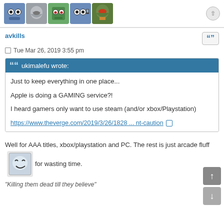[Figure (illustration): Row of cartoon avatar icons including robot-like faces and Boba Fett character]
avkills
Tue Mar 26, 2019 3:55 pm
ukimalefu wrote:
Just to keep everything in one place...

Apple is doing a GAMING service?!

I heard gamers only want to use steam (and/or xbox/Playstation)

https://www.theverge.com/2019/3/26/1828 ... nt-caution
Well for AAA titles, xbox/playstation and PC. The rest is just arcade fluff for wasting time.
"Killing them dead till they believe"